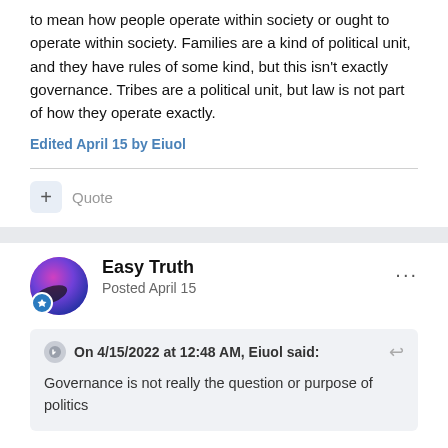to mean how people operate within society or ought to operate within society. Families are a kind of political unit, and they have rules of some kind, but this isn't exactly governance. Tribes are a political unit, but law is not part of how they operate exactly.
Edited April 15 by Eiuol
Quote
Easy Truth
Posted April 15
On 4/15/2022 at 12:48 AM, Eiuol said:
Governance is not really the question or purpose of politics
True, politics goes beyond how a particular society governs itself.